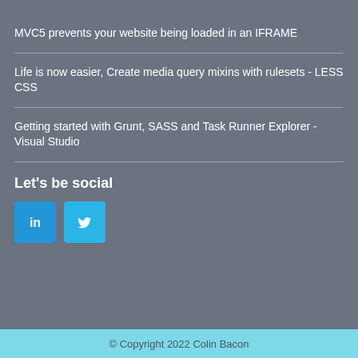MVC5 prevents your website being loaded in an IFRAME
Life is now easier, Create media query mixins with rulesets - LESS CSS
Getting started with Grunt, SASS and Task Runner Explorer - Visual Studio
Let's be social
[Figure (illustration): LinkedIn and Twitter social media icons as colored square buttons]
© Copyright 2022 Colin Bacon